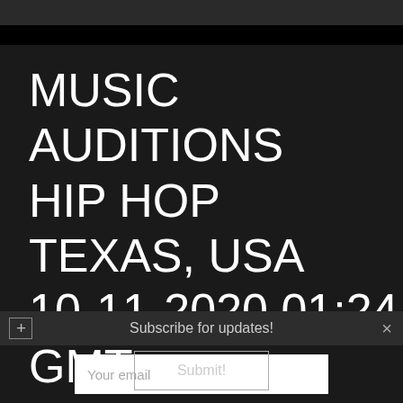MUSIC AUDITIONS
HIP HOP
TEXAS, USA
10-11-2020 01:24 GMT
Subscribe for updates!
Your email
Submit!